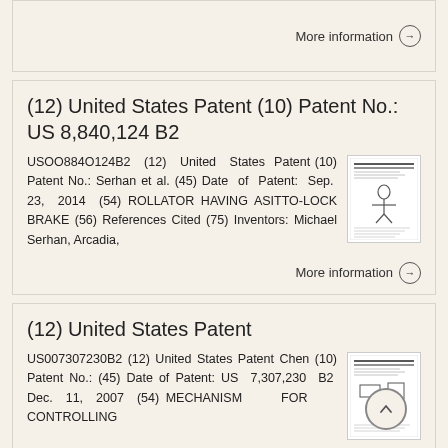More information →
(12) United States Patent (10) Patent No.: US 8,840,124 B2
USOO884O124B2 (12) United States Patent (10) Patent No.: Serhan et al. (45) Date of Patent: Sep. 23, 2014 (54) ROLLATOR HAVING ASITTO-LOCK BRAKE (56) References Cited (75) Inventors: Michael Serhan, Arcadia,
More information →
(12) United States Patent
US007307230B2 (12) United States Patent Chen (10) Patent No.: (45) Date of Patent: US 7,307,230 B2 Dec. 11, 2007 (54) MECHANISM FOR CONTROLLING